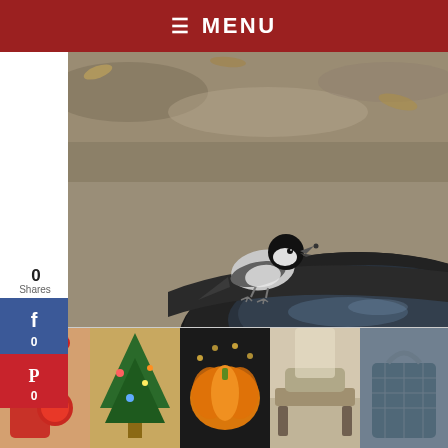≡ MENU
[Figure (photo): A Carolina Chickadee bird perched on the rim of a dark round container (bird bath), with dry grass and leaves in the background.]
photo credit: tailypo from Pixabay
Carolina Chickadees form flocks in winter. It has also been observed that there's a dominance hierarchy system within them.
[Figure (photo): Advertisement banner showing 5 product photos: Christmas boots, Christmas tree, pumpkin light decoration, outdoor furniture, and a bag. Ashley furniture logo at right.]